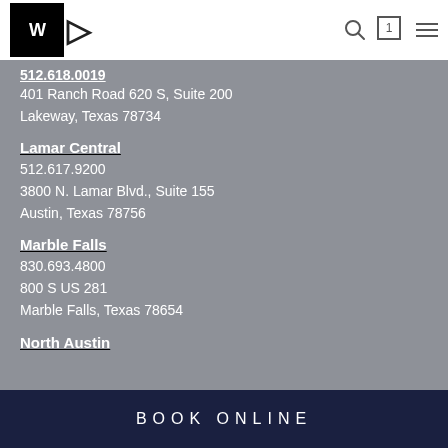WD logo with navigation icons (search, cart with 1, hamburger menu)
512.618.0019
401 Ranch Road 620 S, Suite 200
Lakeway, Texas 78734
Lamar Central
512.617.9200
3800 N. Lamar Blvd., Suite 155
Austin, Texas 78756
Marble Falls
830.693.4800
800 S US 281
Marble Falls, Texas 78654
North Austin
BOOK ONLINE